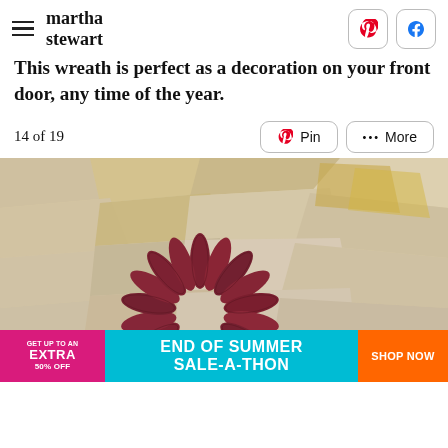martha stewart
This wreath is perfect as a decoration on your front door, any time of the year.
14 of 19
[Figure (photo): A wreath made of dried red/dark corn cobs arranged in a circle, hanging on a natural stone wall with beige and tan tones.]
[Figure (infographic): Advertisement banner: GET UP TO AN EXTRA 50% OFF | END OF SUMMER SALE-A-THON | SHOP NOW]